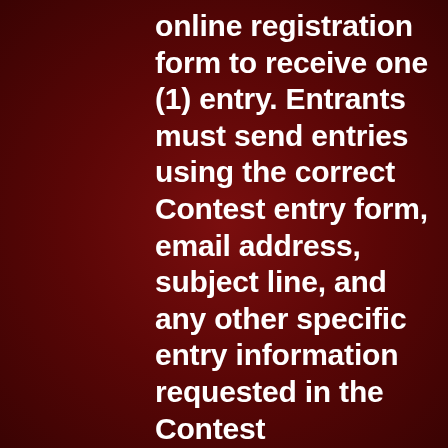online registration form to receive one (1) entry. Entrants must send entries using the correct Contest entry form, email address, subject line, and any other specific entry information requested in the Contest announcement. Eligibility of individual entries will be at the sole discretion of Fruge Aquafarms, Inc., for any reason or for no reason, though specific reasons for disqualification may include use of inappropriate language or visuals. Fruge Aquafarms, Inc. is not responsible for and will not consider incomplete or